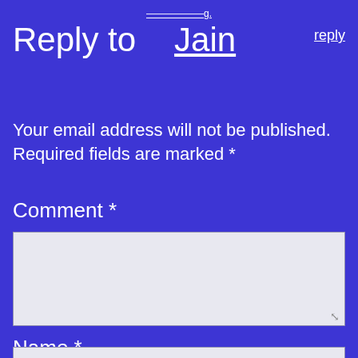Reply to Jain reply
Your email address will not be published. Required fields are marked *
Comment *
[Figure (other): Empty comment textarea input box with light gray background and resize handle]
Name *
[Figure (other): Empty name text input box with light gray background]